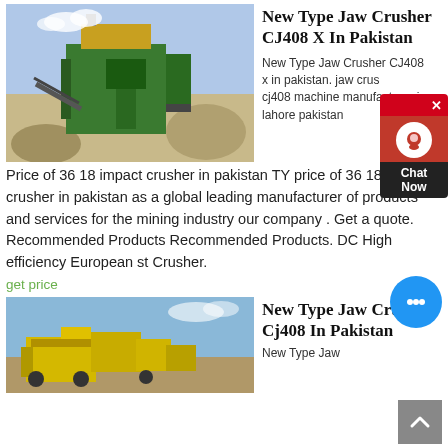[Figure (photo): A large green jaw crusher machine at a quarry site with conveyor belts and rocks, outdoors with blue sky.]
New Type Jaw Crusher CJ408 X In Pakistan
New Type Jaw Crusher CJ408 x in pakistan. jaw crus cj408 machine manufacturer in lahore pakistan Price of 36 18 impact crusher in pakistan TY price of 36 18 impact crusher in pakistan as a global leading manufacturer of products and services for the mining industry our company . Get a quote. Recommended Products Recommended Products. DC High efficiency European st Crusher.
get price
[Figure (photo): Yellow jaw crusher machines at a quarry site with blue sky in the background.]
New Type Jaw Crusher Cj408 In Pakistan
New Type Jaw